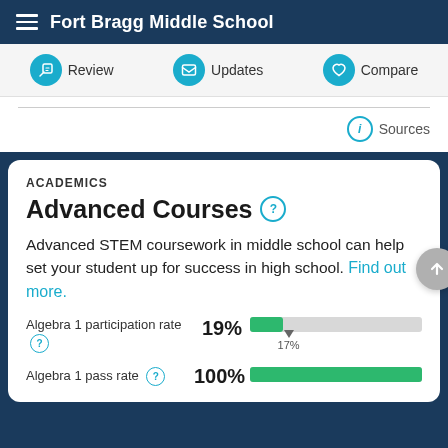Fort Bragg Middle School
Review | Updates | Compare
Sources
ACADEMICS
Advanced Courses
Advanced STEM coursework in middle school can help set your student up for success in high school. Find out more.
Algebra 1 participation rate 19% 17%
Algebra 1 pass rate 100%